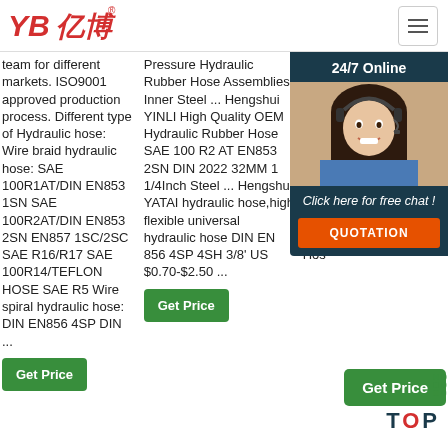[Figure (logo): YB亿博 logo in red italic text with registered trademark symbol]
team for different markets. ISO9001 approved production process. Different type of Hydraulic hose: Wire braid hydraulic hose: SAE 100R1AT/DIN EN853 1SN SAE 100R2AT/DIN EN853 2SN EN857 1SC/2SC SAE R16/R17 SAE 100R14/TEFLON HOSE SAE R5 Wire spiral hydraulic hose: DIN EN856 4SP DIN ...
Pressure Hydraulic Rubber Hose Assemblies Inner Steel ... Hengshui YINLI High Quality OEM Hydraulic Rubber Hose SAE 100 R2 AT EN853 2SN DIN 2022 32MM 1 1/4Inch Steel ... Hengshui YATAI hydraulic hose,high flexible universal hydraulic hose DIN EN 856 4SP 4SH 3/8' US $0.70-$2.50 ...
[Figure (photo): Customer service agent - woman with headset smiling, in 24/7 Online chat overlay panel]
Pressure Rubber Hose DIN SAE En 1sc R16 En SAE Spi Hig Wa Hos
24/7 Online
Click here for free chat !
QUOTATION
Get Price
Get Price TOP